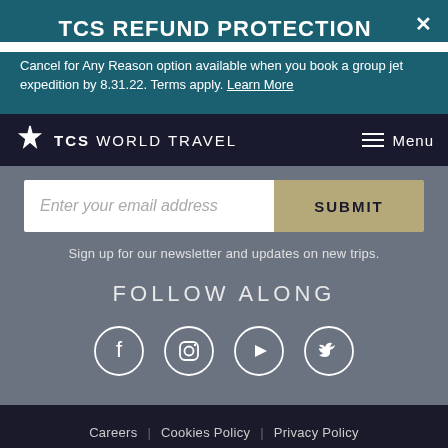TCS REFUND PROTECTION
Cancel for Any Reason option available when you book a group jet expedition by 8.31.22. Terms apply. Learn More
TCS WORLD TRAVEL   Menu
Enter your email address   SUBMIT
Sign up for our newsletter and updates on new trips.
FOLLOW ALONG
[Figure (other): Social media icons: Facebook, Instagram, YouTube, Twitter in circles]
Careers | Cookies Policy | Privacy Policy | Terms of Use | Travel Advisor Resources